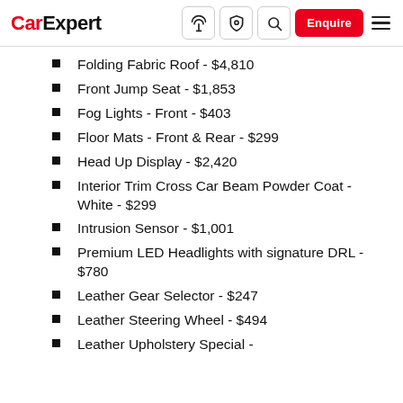CarExpert — navigation bar with logo, icons, Enquire button
Folding Fabric Roof - $4,810
Front Jump Seat - $1,853
Fog Lights - Front - $403
Floor Mats - Front & Rear - $299
Head Up Display - $2,420
Interior Trim Cross Car Beam Powder Coat - White - $299
Intrusion Sensor - $1,001
Premium LED Headlights with signature DRL - $780
Leather Gear Selector - $247
Leather Steering Wheel - $494
Leather Upholstery Special -